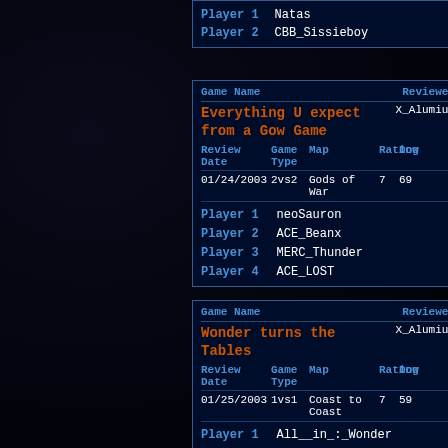| Player 1 | Natas |
| --- | --- |
| Player 1 | Natas |
| Player 2 | CBB_Sissieboy |
| Game Name | Reviewer |
| --- | --- |
| Everything U expect from a Gow Game | X_Alumium |
| Review Date | Game Type | Map | Rating | Downloads |
| 01/24/2003 | 2vs2 | Gods of War | 7 | 69 |
| Player 1 | neoSauron |
| Player 2 | ACE_Beanx |
| Player 3 | MERC_Thunder |
| Player 4 | ACE_LOST |
| Game Name | Reviewer |
| --- | --- |
| Wonder turns the Tables | X_Alumium |
| Review Date | Game Type | Map | Rating | Downloads |
| 01/25/2003 | 1vs1 | Coast to Coast | 7 | 59 |
| Player 1 | All__in_:_Wonder |
| Player 2 | BTU_Rune |